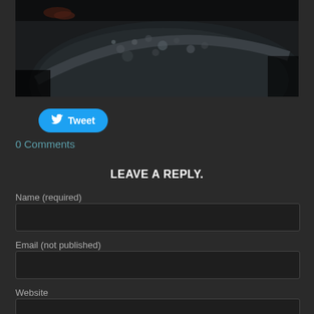[Figure (photo): Dark overhead photo of a pan or wok with cooking residue, ash, or charred food on a dark surface]
[Figure (other): Twitter Tweet button with bird icon]
0 Comments
LEAVE A REPLY.
Name (required)
Email (not published)
Website